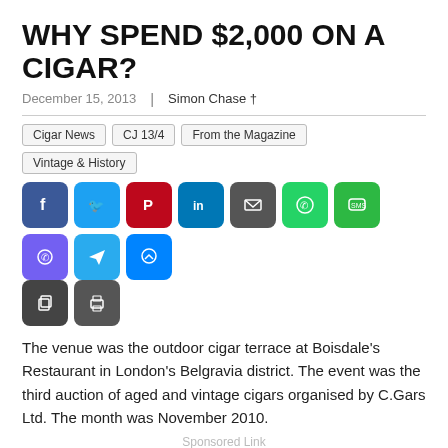WHY SPEND $2,000 ON A CIGAR?
December 15, 2013  |  Simon Chase †
Cigar News
CJ 13/4
From the Magazine
Vintage & History
[Figure (infographic): Row of social media share buttons: Facebook (blue), Twitter (light blue), Pinterest (red), LinkedIn (dark blue), Email (dark gray), WhatsApp (green), SMS (green), Viber (purple), Telegram (blue), Messenger (blue), Copy (dark gray), Print (dark gray)]
The venue was the outdoor cigar terrace at Boisdale's Restaurant in London's Belgravia district. The event was the third auction of aged and vintage cigars organised by C.Gars Ltd. The month was November 2010.
Sponsored Link
[Figure (photo): Ad banner with orange/black gradient background showing text 'The Flavors' in white bold italic font]